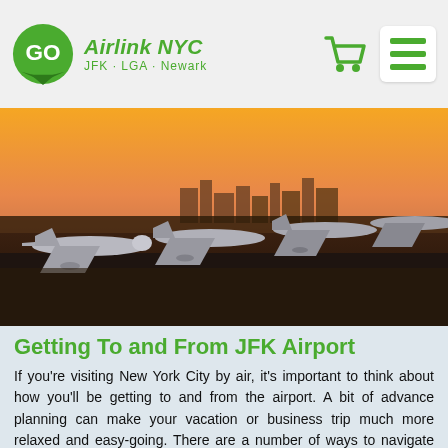[Figure (logo): GO Airlink NYC logo with green GO badge and arrow, text 'Airlink NYC' and 'JFK · LGA · Newark' in green]
[Figure (photo): Row of commercial airplanes on tarmac at sunset with orange sky and city skyline silhouette in background]
Getting To and From JFK Airport
If you're visiting New York City by air, it's important to think about how you'll be getting to and from the airport. A bit of advance planning can make your vacation or business trip much more relaxed and easy-going. There are a number of ways to navigate your airport travel, including public transit